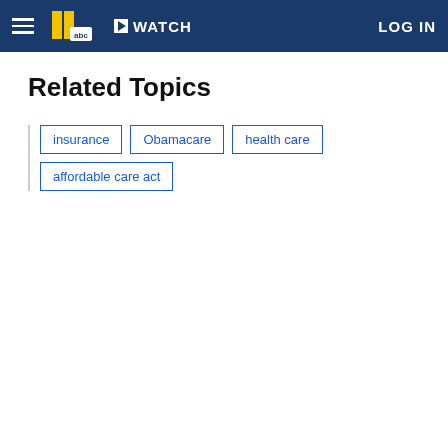WATCH | LOG IN
Related Topics
insurance
Obamacare
health care
affordable care act